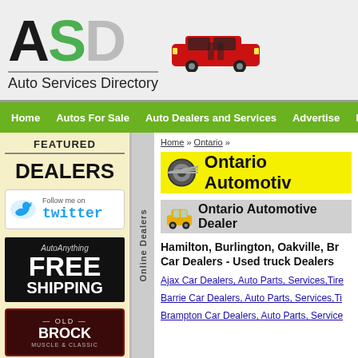[Figure (logo): ASD Auto Services Directory logo with red car illustration]
Home | Autos For Sale | Auto Dealers and Services | Advertise | For Dealers
FEATURED DEALERS
[Figure (logo): Follow me on Twitter button with bird icon]
[Figure (illustration): AutoAnything FREE SHIPPING advertisement]
[Figure (logo): Old Brock Muscle & Classic logo]
Online Dealers
Home » Ontario »
Ontario Automotive
Ontario Automotive Dealers
Hamilton, Burlington, Oakville, Brampton Car Dealers - Used truck Dealers
Ajax Car Dealers, Auto Parts, Services, Tires
Barrie Car Dealers, Auto Parts, Services, Tires
Brampton Car Dealers, Auto Parts, Services